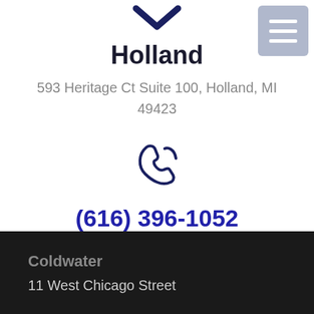[Figure (illustration): Dark blue downward chevron/arrow icon at top center]
[Figure (illustration): Blue hamburger/menu icon button in upper right corner with three horizontal lines on gray-blue background]
Holland
593 Heritage Ct Suite 100, Holland, MI 49423
[Figure (illustration): Blue telephone/phone handset icon]
(616) 396-1052
Coldwater
11 West Chicago Street